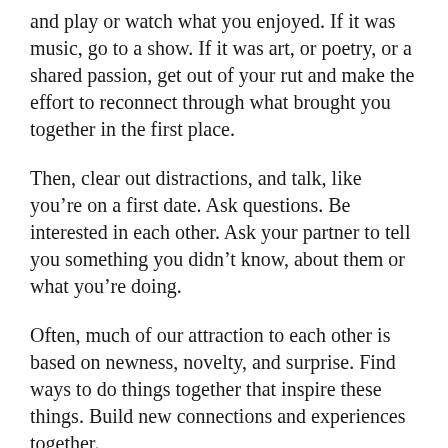and play or watch what you enjoyed. If it was music, go to a show. If it was art, or poetry, or a shared passion, get out of your rut and make the effort to reconnect through what brought you together in the first place.
Then, clear out distractions, and talk, like you're on a first date. Ask questions. Be interested in each other. Ask your partner to tell you something you didn't know, about them or what you're doing.
Often, much of our attraction to each other is based on newness, novelty, and surprise. Find ways to do things together that inspire these things. Build new connections and experiences together.